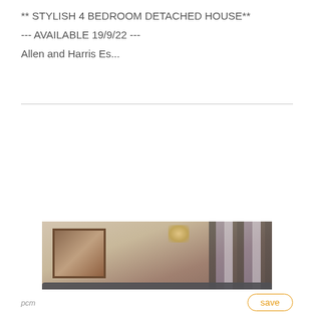** STYLISH 4 BEDROOM DETACHED HOUSE**
--- AVAILABLE 19/9/22 ---
Allen and Harris Es...
[Figure (photo): Interior room photo showing a living room with a mirror on the wall, chandelier, and curtains on the right side, partially obscured by a cookie consent overlay]
We use cookies to make our site work and to continuously improve it. You can control these by clicking 'cookie preferences'.
accept all cookies
cookie preferences
pcm
save